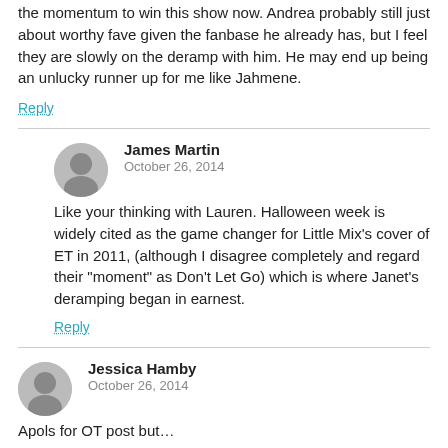the momentum to win this show now. Andrea probably still just about worthy fave given the fanbase he already has, but I feel they are slowly on the deramp with him. He may end up being an unlucky runner up for me like Jahmene.
Reply
James Martin
October 26, 2014
Like your thinking with Lauren. Halloween week is widely cited as the game changer for Little Mix's cover of ET in 2011, (although I disagree completely and regard their "moment" as Don't Let Go) which is where Janet's deramping began in earnest.
Reply
Jessica Hamby
October 26, 2014
Apols for OT post but…
OTY are my new personal favourites simply for the line "if it's not punny it's not funny"